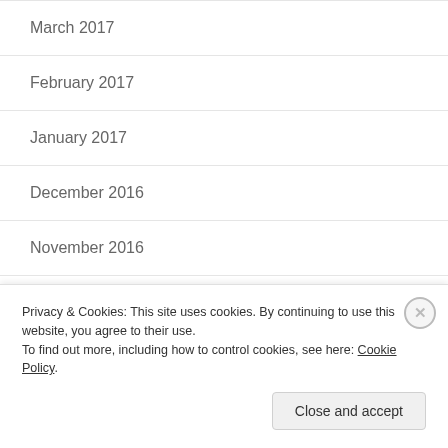March 2017
February 2017
January 2017
December 2016
November 2016
- TOP POSTS & PAGES -
Privacy & Cookies: This site uses cookies. By continuing to use this website, you agree to their use.
To find out more, including how to control cookies, see here: Cookie Policy